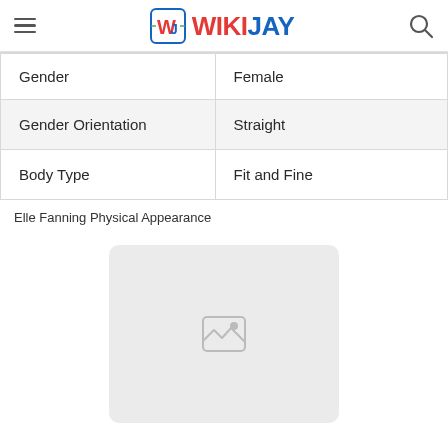WIKIJAY
| Gender | Female |
| Gender Orientation | Straight |
| Body Type | Fit and Fine |
Elle Fanning Physical Appearance
[Figure (photo): Placeholder image box with broken image icon]